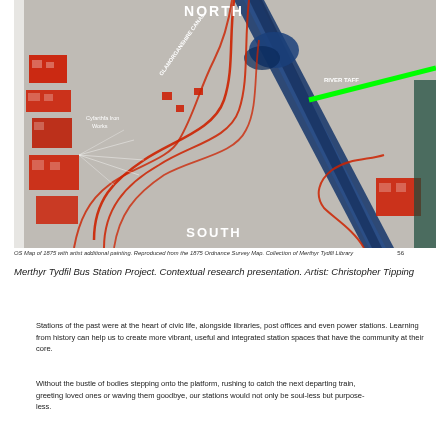[Figure (map): OS Map of 1875 with artist additional painting showing a historical map of Merthyr Tydfil area with red buildings/ironworks, blue canal (Glamorganshire Canal), green line indicating River Taff, and red curved railway lines. Labels show NORTH at top, SOUTH at bottom, GLAMORGANSHIRE CANAL, RIVER TAFF, and Cyfarthfa Iron Works.]
OS Map of 1875 with artist additional painting. Reproduced from the 1875 Ordnance Survey Map. Collection of Merthyr Tydfil Library   56
Merthyr Tydfil Bus Station Project. Contextual research presentation. Artist: Christopher Tipping
Stations of the past were at the heart of civic life, alongside libraries, post offices and even power stations. Learning from history can help us to create more vibrant, useful and integrated station spaces that have the community at their core.
Without the bustle of bodies stepping onto the platform, rushing to catch the next departing train, greeting loved ones or waving them goodbye, our stations would not only be soul-less but purpose-less.